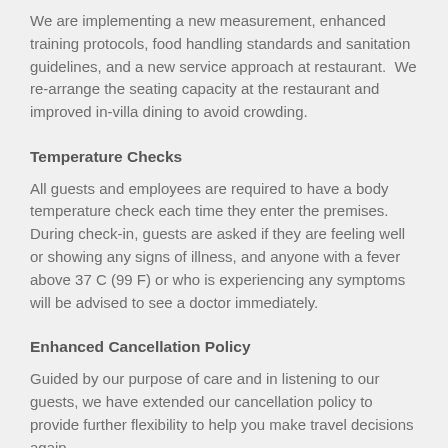We are implementing a new measurement, enhanced training protocols, food handling standards and sanitation guidelines, and a new service approach at restaurant.  We re-arrange the seating capacity at the restaurant and improved in-villa dining to avoid crowding.
Temperature Checks
All guests and employees are required to have a body temperature check each time they enter the premises. During check-in, guests are asked if they are feeling well or showing any signs of illness, and anyone with a fever above 37 C (99 F) or who is experiencing any symptoms will be advised to see a doctor immediately.
Enhanced Cancellation Policy
Guided by our purpose of care and in listening to our guests, we have extended our cancellation policy to provide further flexibility to help you make travel decisions again.